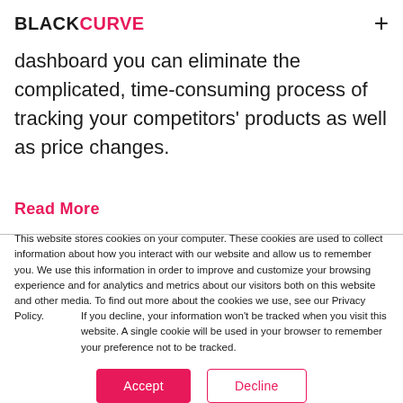BLACKCURVE +
dashboard you can eliminate the complicated, time-consuming process of tracking your competitors' products as well as price changes.
Read More
This website stores cookies on your computer. These cookies are used to collect information about how you interact with our website and allow us to remember you. We use this information in order to improve and customize your browsing experience and for analytics and metrics about our visitors both on this website and other media. To find out more about the cookies we use, see our Privacy Policy.
If you decline, your information won't be tracked when you visit this website. A single cookie will be used in your browser to remember your preference not to be tracked.
Accept   Decline